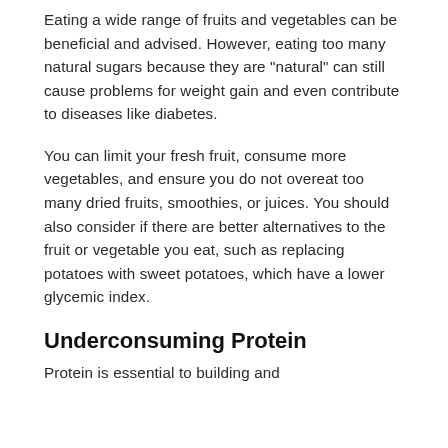Eating a wide range of fruits and vegetables can be beneficial and advised. However, eating too many natural sugars because they are "natural" can still cause problems for weight gain and even contribute to diseases like diabetes.
You can limit your fresh fruit, consume more vegetables, and ensure you do not overeat too many dried fruits, smoothies, or juices. You should also consider if there are better alternatives to the fruit or vegetable you eat, such as replacing potatoes with sweet potatoes, which have a lower glycemic index.
Underconsuming Protein
Protein is essential to building and